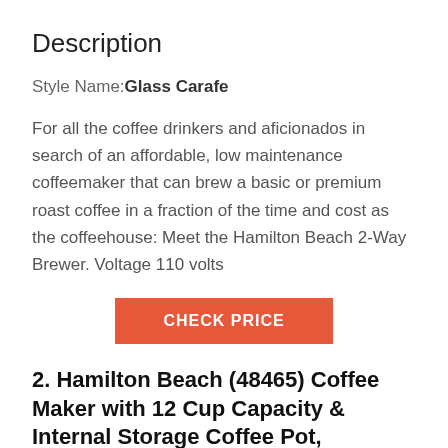Description
Style Name: Glass Carafe
For all the coffee drinkers and aficionados in search of an affordable, low maintenance coffeemaker that can brew a basic or premium roast coffee in a fraction of the time and cost as the coffeehouse: Meet the Hamilton Beach 2-Way Brewer. Voltage 110 volts
[Figure (other): Orange button labeled CHECK PRICE]
2. Hamilton Beach (48465) Coffee Maker with 12 Cup Capacity & Internal Storage Coffee Pot, Brewstation, Black & Stainless
[Figure (photo): Partial top view of a black coffee maker product]